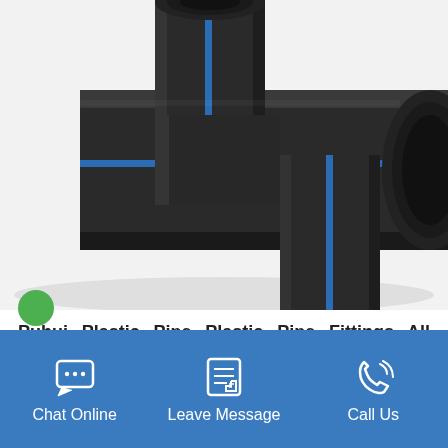[Figure (photo): Dark gray/black HDPE plastic pipe T-fitting with blue stripe, showing two large pipes joined at a tee connection against a white background.]
Puhui Plastic Pipe Plastic Pipe Fittings All Plastic Pipes and ...
HDPE EF Fittings making high quality and available solutions.
Chat Online  Leave Message  Call Us